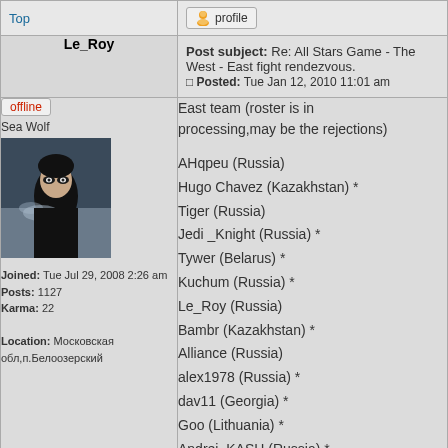| Top | profile |
| Le_Roy | Post subject: Re: All Stars Game - The West - East fight rendezvous.
Posted: Tue Jan 12, 2010 11:01 am |
| offline
Sea Wolf
[avatar]
Joined: Tue Jul 29, 2008 2:26 am
Posts: 1127
Karma: 22
Location: Московская обл,п.Белоозерский | East team (roster is in processing,may be the rejections)

АНqpeu (Russia)
Hugo Chavez (Kazakhstan) *
Tiger (Russia)
Jedi _Knight (Russia) *
Tywer (Belarus) *
Kuchum (Russia) *
Le_Roy (Russia)
Bambr (Kazakhstan) *
Alliance (Russia)
alex1978 (Russia) *
dav11 (Georgia) *
Goo (Lithuania) *
Andrei_KASH (Russia) *
Rimus (Ukraine) *
Filin (Russia) * |